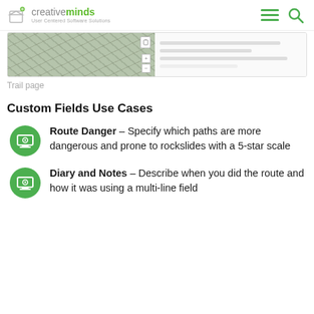creativeminds - User Centered Software Solutions
[Figure (screenshot): Partial screenshot of a trail page showing a map view with satellite imagery and a sidebar with trail info lines]
Trail page
Custom Fields Use Cases
Route Danger – Specify which paths are more dangerous and prone to rockslides with a 5-star scale
Diary and Notes – Describe when you did the route and how it was using a multi-line field